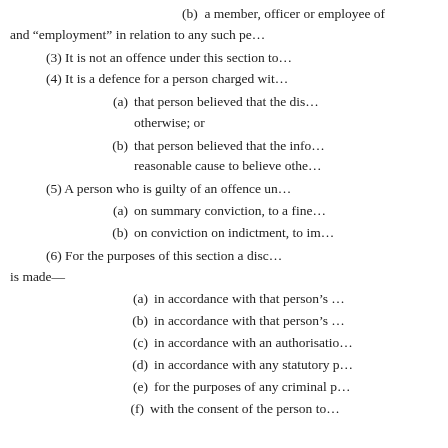(b)  a member, officer or employee of
and “employment” in relation to any such pe…
(3) It is not an offence under this section to…
(4) It is a defence for a person charged wit…
(a)  that person believed that the dis… otherwise; or
(b)  that person believed that the info… reasonable cause to believe othe…
(5) A person who is guilty of an offence un…
(a)  on summary conviction, to a fine…
(b)  on conviction on indictment, to im…
(6) For the purposes of this section a disc… is made—
(a)  in accordance with that person’s …
(b)  in accordance with that person’s …
(c)  in accordance with an authorisatio…
(d)  in accordance with any statutory p…
(e)  for the purposes of any criminal p…
(f)  with the consent of the person to…